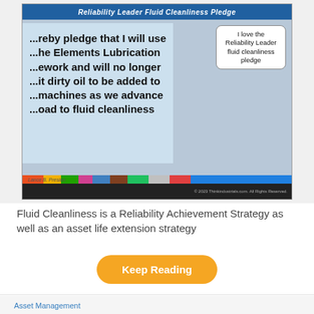[Figure (illustration): Comic-style illustration titled 'Reliability Leader Fluid Cleanliness Pledge' showing superheroes standing in front of a pledge sign that reads '...reby pledge that I will use ...he Elements Lubrication ...ework and will no longer ...t dirty oil to be added to ...machines as we advance ...oad to fluid cleanliness'. One hero has a speech bubble saying 'I love the Reliability Leader fluid cleanliness pledge'.]
Fluid Cleanliness is a Reliability Achievement Strategy as well as an asset life extension strategy
Keep Reading
Asset Management
Intelligent asset